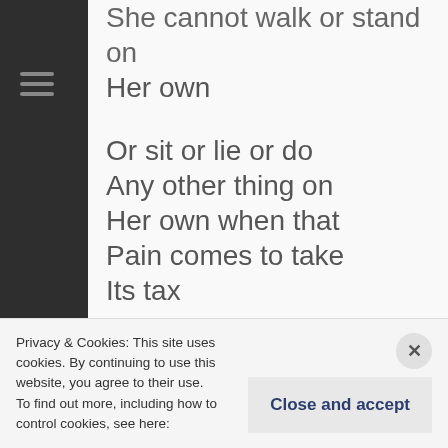She cannot walk or stand on
Her own

Or sit or lie or do
Any other thing on
Her own when that
Pain comes to take
Its tax

Oh my god I'm in
Agony

The Great Destroyer we
Privacy & Cookies: This site uses cookies. By continuing to use this website, you agree to their use.
To find out more, including how to control cookies, see here:
Close and accept